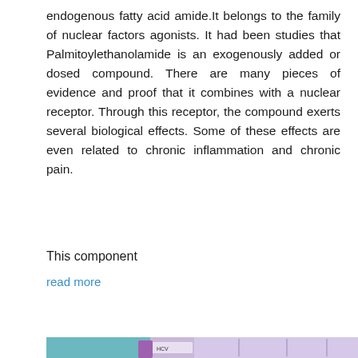endogenous fatty acid amide.It belongs to the family of nuclear factors agonists. It had been studies that Palmitoylethanolamide is an exogenously added or dosed compound. There are many pieces of evidence and proof that it combines with a nuclear receptor. Through this receptor, the compound exerts several biological effects. Some of these effects are even related to chronic inflammation and chronic pain.
This component
read more
READ MORE
[Figure (photo): A gloved hand (blue latex glove) holding a medical test tube labeled HCV, with laboratory sample trays in the background.]